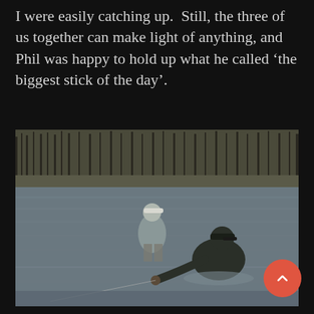I were easily catching up.  Still, the three of us together can make light of anything, and Phil was happy to hold up what he called ‘the biggest stick of the day’.
[Figure (photo): Two anglers wading in a river. One in the foreground crouching down in dark clothing and a cap, handling a fishing line near the water surface. Another angler stands further back in lighter clothing. Bare winter trees visible on the far bank.]